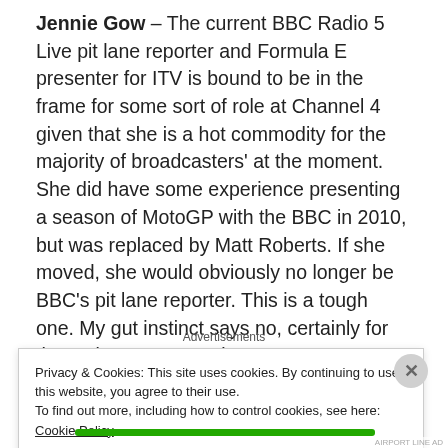Jennie Gow – The current BBC Radio 5 Live pit lane reporter and Formula E presenter for ITV is bound to be in the frame for some sort of role at Channel 4 given that she is a hot commodity for the majority of broadcasters' at the moment. She did have some experience presenting a season of MotoGP with the BBC in 2010, but was replaced by Matt Roberts. If she moved, she would obviously no longer be BBC's pit lane reporter. This is a tough one. My gut instinct says no, certainly for the main presenter role.
Advertisements
Privacy & Cookies: This site uses cookies. By continuing to use this website, you agree to their use.
To find out more, including how to control cookies, see here: Cookie Policy
Close and accept